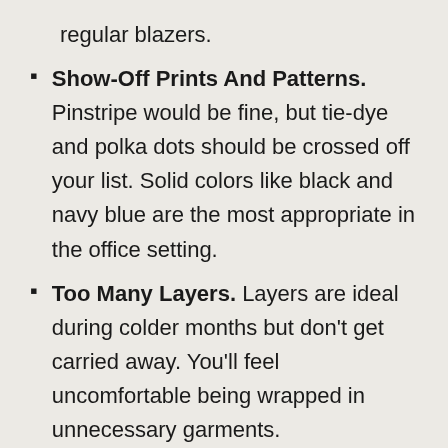regular blazers.
Show-Off Prints And Patterns. Pinstripe would be fine, but tie-dye and polka dots should be crossed off your list. Solid colors like black and navy blue are the most appropriate in the office setting.
Too Many Layers. Layers are ideal during colder months but don't get carried away. You'll feel uncomfortable being wrapped in unnecessary garments.